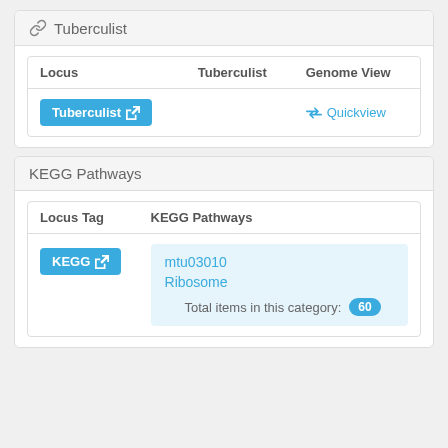Tuberculist
| Locus | Tuberculist | Genome View |
| --- | --- | --- |
| Tuberculist [button] |  | ⇄ Quickview |
KEGG Pathways
| Locus Tag | KEGG Pathways |
| --- | --- |
| KEGG [button] | mtu03010
Ribosome
Total items in this category: 60 |